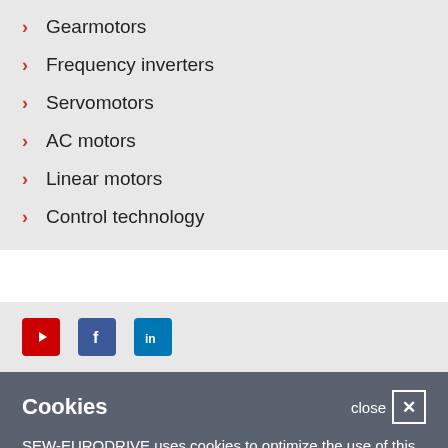Gearmotors
Frequency inverters
Servomotors
AC motors
Linear motors
Control technology
[Figure (logo): Social media icons: YouTube (red), Facebook (blue), LinkedIn (blue)]
Cookies
SEW-EURODRIVE uses cookies to optimize the use of this website. By continuing to use this website yiu are agreeing to our use of cookies.